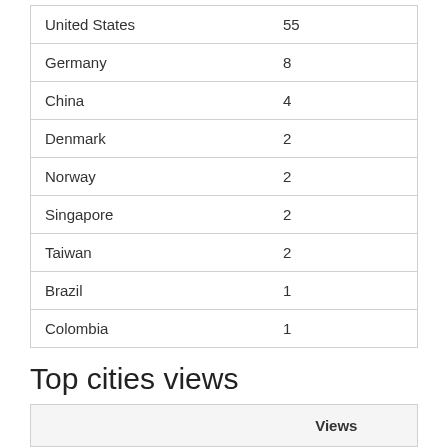|  | Views |
| --- | --- |
| United States | 55 |
| Germany | 8 |
| China | 4 |
| Denmark | 2 |
| Norway | 2 |
| Singapore | 2 |
| Taiwan | 2 |
| Brazil | 1 |
| Colombia | 1 |
Top cities views
|  | Views |
| --- | --- |